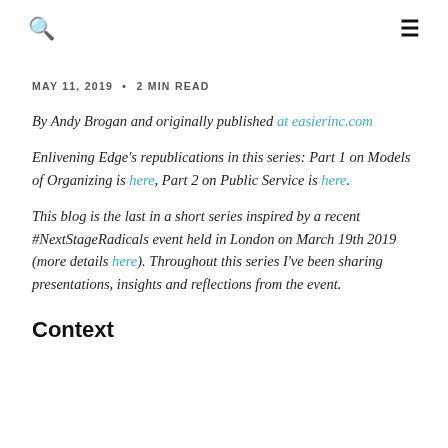🔍  ≡
MAY 11, 2019  •  2 MIN READ
By Andy Brogan and originally published at easierinc.com
Enlivening Edge's republications in this series: Part 1 on Models of Organizing is here, Part 2 on Public Service is here.
This blog is the last in a short series inspired by a recent #NextStageRadicals event held in London on March 19th 2019 (more details here). Throughout this series I've been sharing presentations, insights and reflections from the event.
Context